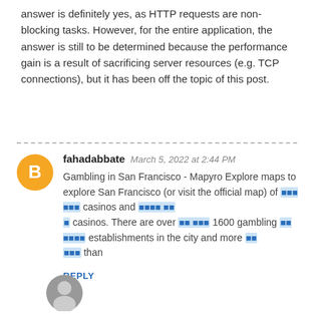answer is definitely yes, as HTTP requests are non-blocking tasks. However, for the entire application, the answer is still to be determined because the performance gain is a result of sacrificing server resources (e.g. TCP connections), but it has been off the topic of this post.
fahadabbate  March 5, 2022 at 2:44 PM
Gambling in San Francisco - Mapyro Explore maps to explore San Francisco (or visit the official map) of [link] casinos and [link] casinos. There are over [link] 1600 gambling [link] establishments in the city and more [link] than
REPLY